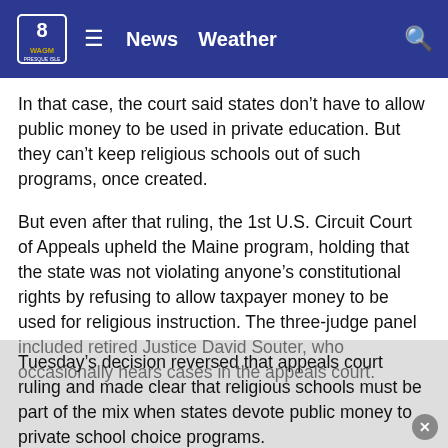News  Weather
In that case, the court said states don’t have to allow public money to be used in private education. But they can’t keep religious schools out of such programs, once created.
But even after that ruling, the 1st U.S. Circuit Court of Appeals upheld the Maine program, holding that the state was not violating anyone’s constitutional rights by refusing to allow taxpayer money to be used for religious instruction. The three-judge panel included retired Justice David Souter, who occasionally hears cases in the appeals court.
Tuesday’s decision reversed that appeals court ruling and made clear that religious schools must be part of the mix when states devote public money to private school choice programs.